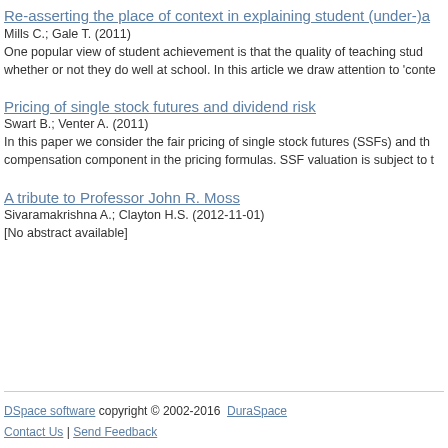Re-asserting the place of context in explaining student (under-)a
Mills C.; Gale T. (2011)
One popular view of student achievement is that the quality of teaching stud whether or not they do well at school. In this article we draw attention to 'conte
Pricing of single stock futures and dividend risk
Swart B.; Venter A. (2011)
In this paper we consider the fair pricing of single stock futures (SSFs) and th compensation component in the pricing formulas. SSF valuation is subject to t
A tribute to Professor John R. Moss
Sivaramakrishna A.; Clayton H.S. (2012-11-01)
[No abstract available]
DSpace software copyright © 2002-2016  DuraSpace
Contact Us | Send Feedback